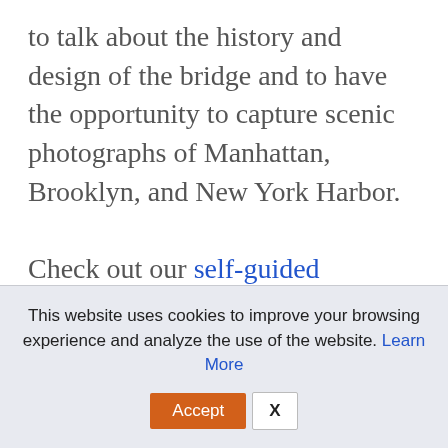to talk about the history and design of the bridge and to have the opportunity to capture scenic photographs of Manhattan, Brooklyn, and New York Harbor.

Check out our self-guided Brooklyn Bridge walk (also available as a GPS-led audio tour) to get a better idea of what you will experience.
This website uses cookies to improve your browsing experience and analyze the use of the website. Learn More
Accept  X